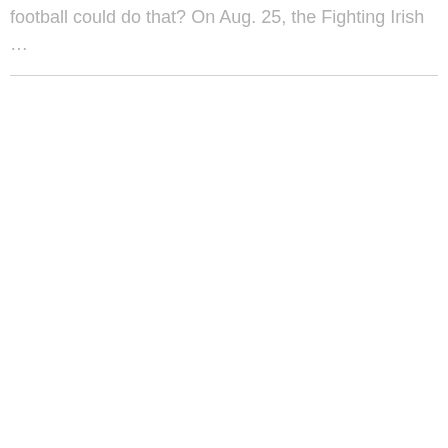football could do that?  On Aug. 25, the Fighting Irish …